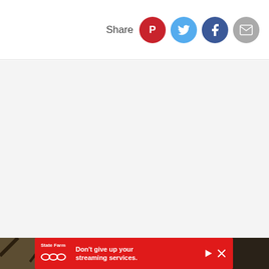Share
[Figure (photo): Large gray placeholder area below the share bar, representing an empty image/content area]
[Figure (photo): Partial outdoor photo at the bottom of the page with trees and people visible]
[Figure (infographic): State Farm advertisement banner: red background with State Farm logo (three ovals), text 'Don't give up your streaming services.' with play and close buttons]